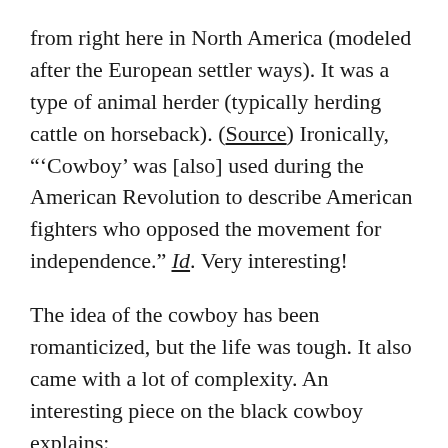from right here in North America (modeled after the European settler ways). It was a type of animal herder (typically herding cattle on horseback). (Source) Ironically, "'Cowboy' was [also] used during the American Revolution to describe American fighters who opposed the movement for independence." Id. Very interesting!
The idea of the cowboy has been romanticized, but the life was tough. It also came with a lot of complexity. An interesting piece on the black cowboy explains: “Growing up, many Americans are taught to see Manifest Destiny as this thrilling spectrum of possibility – a blueprint for bravery, with the occasional dash of Donner Party crazy. ‘The whole idea of taming the West,’ says Ron Tarver, ‘well, basically, you’re just uprooting indigenous people.’ The history of the